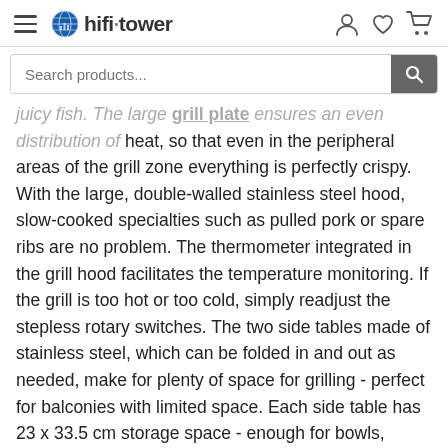hifi·tower
juicy fish. The large grill plate ensures an even distribution of heat, so that even in the peripheral areas of the grill zone everything is perfectly crispy. With the large, double-walled stainless steel hood, slow-cooked specialties such as pulled pork or spare ribs are no problem. The thermometer integrated in the grill hood facilitates the temperature monitoring. If the grill is too hot or too cold, simply readjust the stepless rotary switches. The two side tables made of stainless steel, which can be folded in and out as needed, make for plenty of space for grilling - perfect for balconies with limited space. Each side table has 23 x 33.5 cm storage space - enough for bowls, pans, cutlery, drinks or spices. Have we thought of everything for your perfect barbecue experience? Of course: because the Tomahawk 4.0 T also features 3 hooks for hanging barbecue tongs, skewers or spatulas and an enameled warming rack for grilling